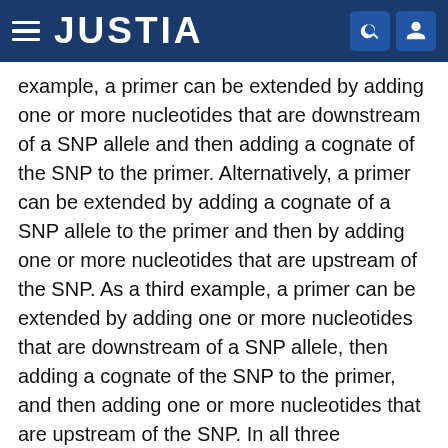JUSTIA
example, a primer can be extended by adding one or more nucleotides that are downstream of a SNP allele and then adding a cognate of the SNP to the primer. Alternatively, a primer can be extended by adding a cognate of a SNP allele to the primer and then by adding one or more nucleotides that are upstream of the SNP. As a third example, a primer can be extended by adding one or more nucleotides that are downstream of a SNP allele, then adding a cognate of the SNP to the primer, and then adding one or more nucleotides that are upstream of the SNP. In all three examples, dissociation rates can be detected after one or more of the nucleotide additions. The alleles can be distinguished based on a comparison of polymerase-nucleic acid dissociation rates for test nucleic acid to the dissociation rates for control nucleic acids.